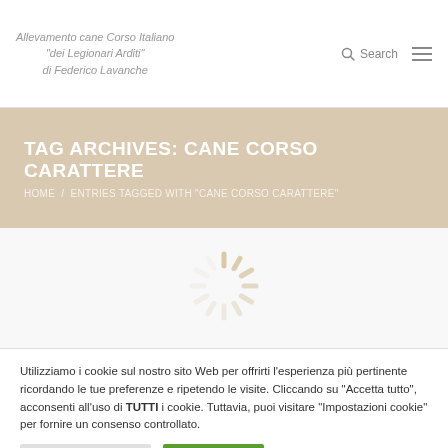Allevamento cane Corso Italiano "dei Legionari Arditi" di Federico Lavanche
TAG ARCHIVES: CANE CORSO CARATTERE
HOME / ENTRIES TAGGED WITH "CANE CORSO CARATTERE"
[Figure (illustration): Loading spinner icon in beige/tan color]
Utilizziamo i cookie sul nostro sito Web per offrirti l'esperienza più pertinente ricordando le tue preferenze e ripetendo le visite. Cliccando su "Accetta tutto", acconsenti all'uso di TUTTI i cookie. Tuttavia, puoi visitare "Impostazioni cookie" per fornire un consenso controllato.
Impostazioni Cookie | Accetto Tutti